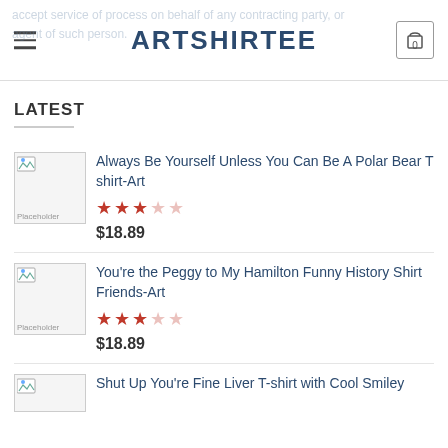ARTSHIRTEE
LATEST
Always Be Yourself Unless You Can Be A Polar Bear T shirt-Art
You're the Peggy to My Hamilton Funny History Shirt Friends-Art
Shut Up You're Fine Liver T-shirt with Cool Smiley